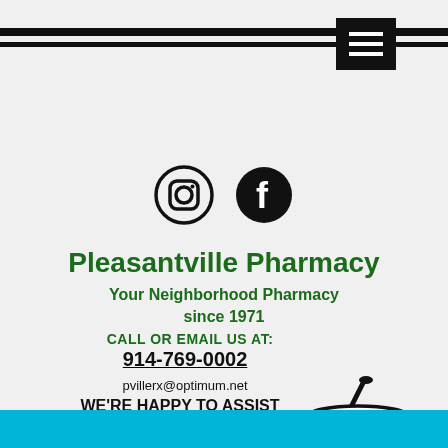[Figure (logo): Hamburger menu button (three horizontal white lines on black background)]
[Figure (logo): Instagram and Facebook social media icons (black circle icons)]
Pleasantville Pharmacy
Your Neighborhood Pharmacy since 1971
CALL OR EMAIL US AT:
914-769-0002
pvillerx@optimum.net
WE'RE HAPPY TO ASSIST YOU!
[Figure (illustration): Mortar and pestle with Rx label inside the bowl]